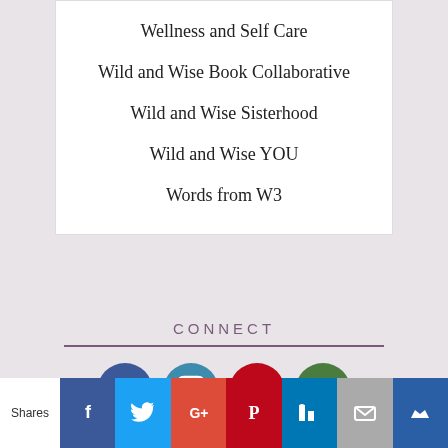Wellness and Self Care
Wild and Wise Book Collaborative
Wild and Wise Sisterhood
Wild and Wise YOU
Words from W3
CONNECT
[Figure (infographic): Four circular social media icons: Facebook (blue), Instagram (teal), Pinterest (red), Email (green)]
[Figure (infographic): Share bar at bottom with Shares label and icons: Facebook, Twitter, Google+, Pinterest, LinkedIn, Email, Crown]